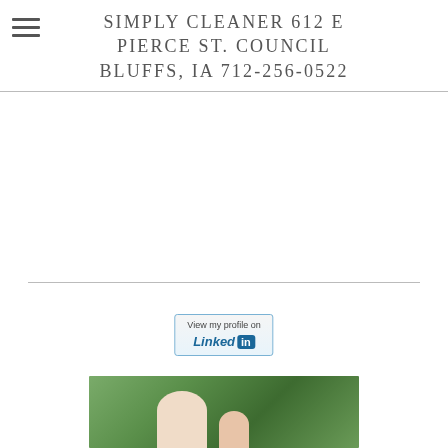SIMPLY CLEANER 612 E PIERCE ST. COUNCIL BLUFFS, IA 712-256-0522
[Figure (other): LinkedIn badge button reading 'View my profile on Linked in']
[Figure (photo): Outdoor photo of two people (adult and child) in a green wooded setting]